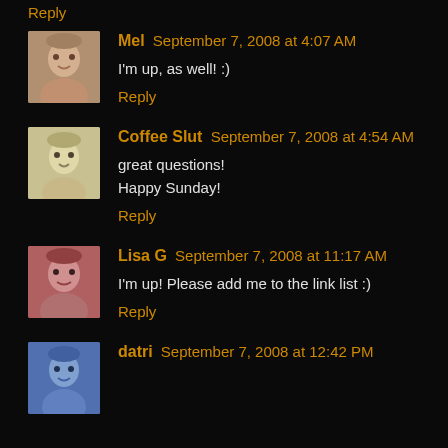Reply (partial, top of page)
Mel September 7, 2008 at 4:07 AM
I'm up, as well! :)
Reply
Coffee Slut September 7, 2008 at 4:54 AM
great questions!
Happy Sunday!
Reply
Lisa G September 7, 2008 at 11:17 AM
I'm up! Please add me to the link list :)
Reply
datri September 7, 2008 at 12:42 PM